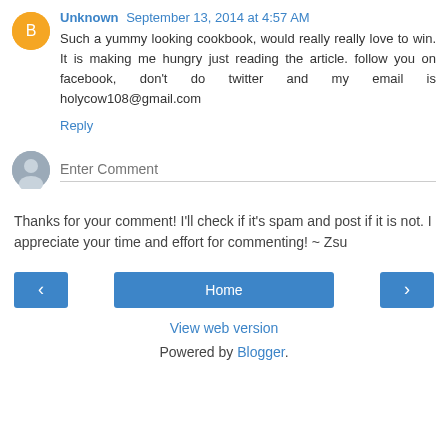Unknown  September 13, 2014 at 4:57 AM
Such a yummy looking cookbook, would really really love to win. It is making me hungry just reading the article. follow you on facebook, don't do twitter and my email is holycow108@gmail.com
Reply
Enter Comment
Thanks for your comment! I'll check if it's spam and post if it is not. I appreciate your time and effort for commenting! ~ Zsu
‹
Home
›
View web version
Powered by Blogger.